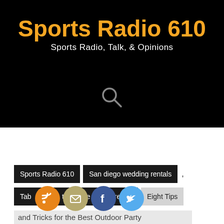Sports Radio 610
Sports Radio, Talk, & Opinions
[Figure (other): Search icon (magnifying glass) in gray on black background]
Sports Radio 610
San diego wedding rentals
Table runner rental
Eight Tips
and Tricks for the Best Outdoor Party